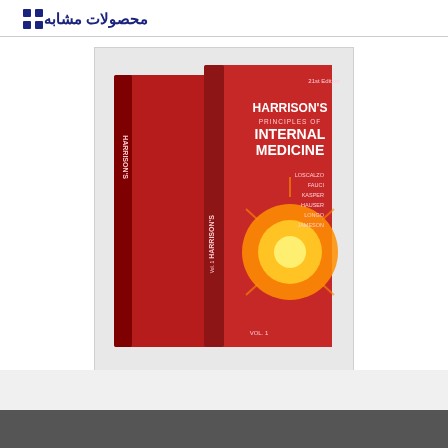محصولات مشابه
[Figure (photo): Book cover of Harrison's Principles of Internal Medicine, 21st Edition, showing two red volumes side by side]
Harrison's Principles of Internal Medicine, Twenty-First Edition (Vol.1 & Vol.2) 21st Edition – Orginal Pdf
39000 تومان